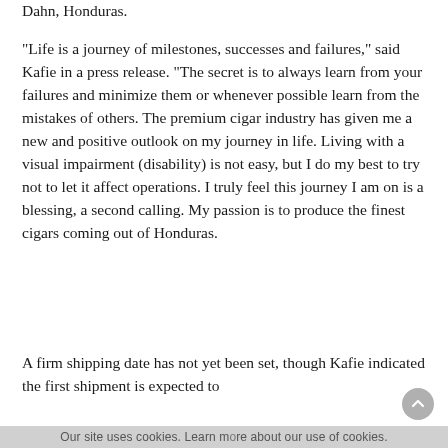Dahn, Honduras.
“Life is a journey of milestones, successes and failures,” said Kafie in a press release. “The secret is to always learn from your failures and minimize them or whenever possible learn from the mistakes of others. The premium cigar industry has given me a new and positive outlook on my journey in life. Living with a visual impairment (disability) is not easy, but I do my best to try not to let it affect operations. I truly feel this journey I am on is a blessing, a second calling. My passion is to produce the finest cigars coming out of Honduras.
A firm shipping date has not yet been set, though Kafie indicated the first shipment is expected to
Our site uses cookies. Learn more about our use of cookies.